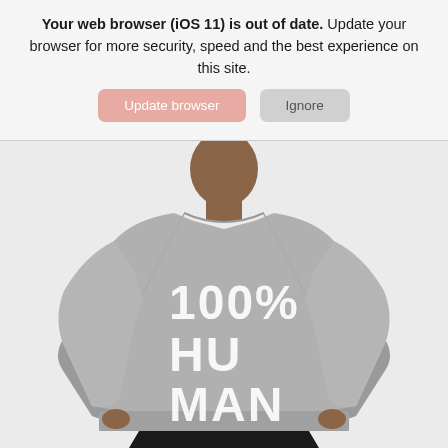Your web browser (iOS 11) is out of date. Update your browser for more security, speed and the best experience on this site.
[Figure (screenshot): Two UI buttons: a salmon/pink 'Update browser' button and a grey 'Ignore' button]
[Figure (photo): A man wearing a grey crewneck sweatshirt with '100% HUMAN' printed in large white letters on the front, wearing black pants. Photo background is white/light grey.]
Image Credit: Everlane